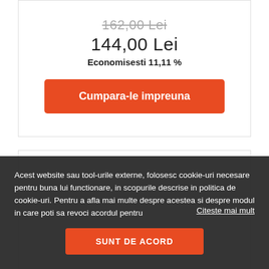162,00 Lei (strikethrough)
144,00 Lei
Economisesti 11,11 %
Cumpara-le impreuna
Acest website sau tool-urile externe, folosesc cookie-uri necesare pentru buna lui functionare, in scopurile descrise in politica de cookie-uri. Pentru a afla mai multe despre acestea si despre modul in care poti sa revoci acordul pentru
Citeste mai mult
SUNT DE ACORD